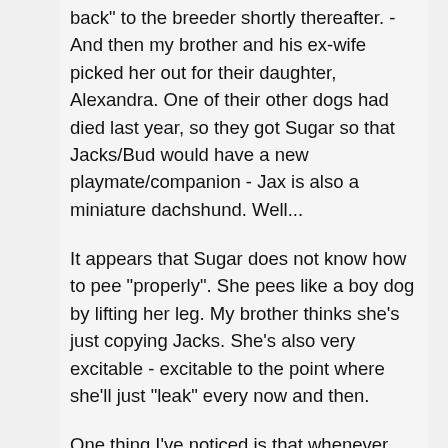back" to the breeder shortly thereafter.  -And then my brother and his ex-wife picked her out for their daughter, Alexandra.  One of their other dogs had died last year, so they got Sugar so that Jacks/Bud would have a new playmate/companion - Jax is also a miniature dachshund.  Well...
It appears that Sugar does not know how to pee "properly".  She pees like a boy dog by lifting her leg.  My brother thinks she's just copying Jacks. She's also very excitable - excitable to the point where she'll just "leak" every now and then.
One thing I've noticed is that whenever you initially approach her, she tries to run